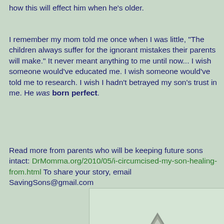how this will effect him when he's older.
I remember my mom told me once when I was little, "The children always suffer for the ignorant mistakes their parents will make." It never meant anything to me until now... I wish someone would've educated me. I wish someone would've told me to research. I wish I hadn't betrayed my son's trust in me. He was born perfect.
Read more from parents who will be keeping future sons intact: DrMomma.org/2010/05/i-circumcised-my-son-healing-from.html To share your story, email SavingSons@gmail.com
[Figure (other): Warning/caution triangle icon with exclamation mark, gray colored, on light green background]